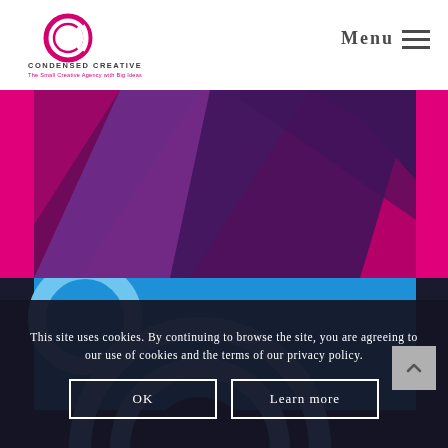[Figure (logo): Condensed Creative logo — circular C mark in pink/magenta with company name and tagline 'The Small Creative Agency with Big Ideas']
Menu
[Figure (illustration): Abstract geometric design with diagonal purple and magenta/pink stripes on a hot-pink background with dark purple chevron/arrow shapes]
[Figure (illustration): Blue background with large concentric circle arcs in lighter blue, partial C-shape motif]
This site uses cookies. By continuing to browse the site, you are agreeing to our use of cookies and the terms of our privacy policy.
OK
Learn more